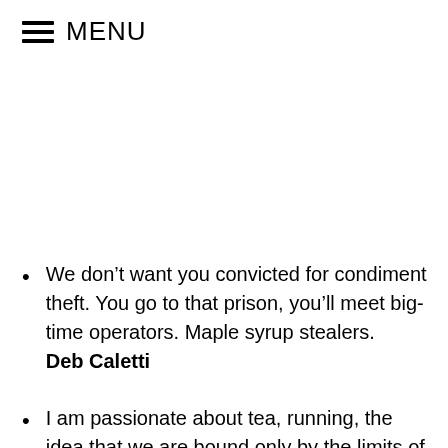MENU
We don’t want you convicted for condiment theft. You go to that prison, you’ll meet big-time operators. Maple syrup stealers. Deb Caletti
I am passionate about tea, running, the idea that we are bound only by the limits of our imaginations, and maple syrup.